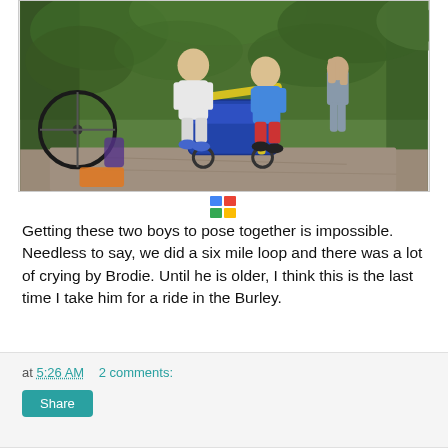[Figure (photo): Two young boys standing on a dirt trail in a forested area next to a bicycle trailer (Burley). An adult is visible walking behind them. The older boy wears a white t-shirt and shorts, the younger wears a blue shirt and red shorts with sandals.]
Getting these two boys to pose together is impossible. Needless to say, we did a six mile loop and there was a lot of crying by Brodie. Until he is older, I think this is the last time I take him for a ride in the Burley.
at 5:26 AM   2 comments:
Share